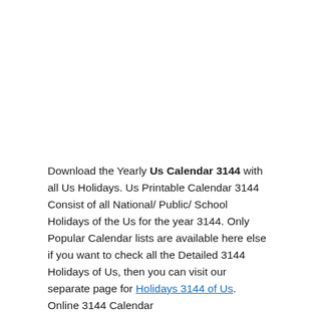Download the Yearly Us Calendar 3144 with all Us Holidays. Us Printable Calendar 3144 Consist of all National/ Public/ School Holidays of the Us for the year 3144. Only Popular Calendar lists are available here else if you want to check all the Detailed 3144 Holidays of Us, then you can visit our separate page for Holidays 3144 of Us. Online 3144 Calendar...